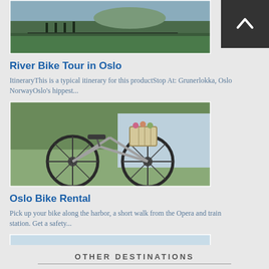[Figure (photo): Partially visible photo of people with bikes near a waterfront with trees and water in background]
River Bike Tour in Oslo
ItineraryThis is a typical itinerary for this productStop At: Grunerlokka, Oslo NorwayOslo's hippest...
[Figure (photo): Photo of a city bicycle with a basket, parked in front of green foliage]
Oslo Bike Rental
Pick up your bike along the harbor, a short walk from the Opera and train station. Get a safety...
[Figure (photo): Partial photo of a building with arched windows, beige facade]
OTHER DESTINATIONS